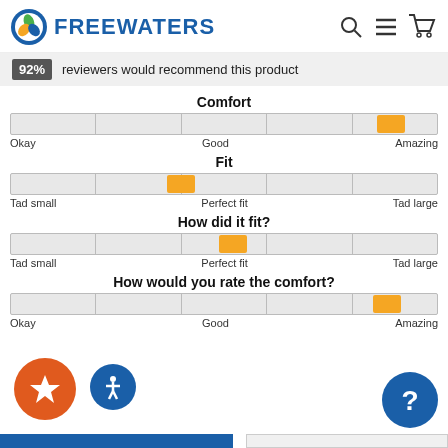FREEWATERS
92% reviewers would recommend this product
Comfort
[Figure (infographic): Comfort slider bar with orange marker near the Amazing (right) end. Labels: Okay, Good, Amazing]
Fit
[Figure (infographic): Fit slider bar with orange marker slightly left of center. Labels: Tad small, Perfect fit, Tad large]
How did it fit?
[Figure (infographic): How did it fit slider bar with orange marker slightly right of center. Labels: Tad small, Perfect fit, Tad large]
How would you rate the comfort?
[Figure (infographic): Comfort rating slider bar with orange marker near right end. Labels: Okay, Good, Amazing]